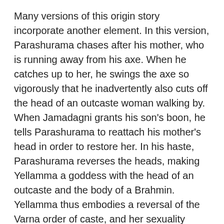Many versions of this origin story incorporate another element. In this version, Parashurama chases after his mother, who is running away from his axe. When he catches up to her, he swings the axe so vigorously that he inadvertently also cuts off the head of an outcaste woman walking by. When Jamadagni grants his son's boon, he tells Parashurama to reattach his mother's head in order to restore her. In his haste, Parashurama reverses the heads, making Yellamma a goddess with the head of an outcaste and the body of a Brahmin. Yellamma thus embodies a reversal of the Varna order of caste, and her sexuality manifests itself as an uncontained and abundant fertility. This is the goddess in her aroused state, tempted by pleasure, cut down by matricide, disrupting orders of caste and gender, and reborn in